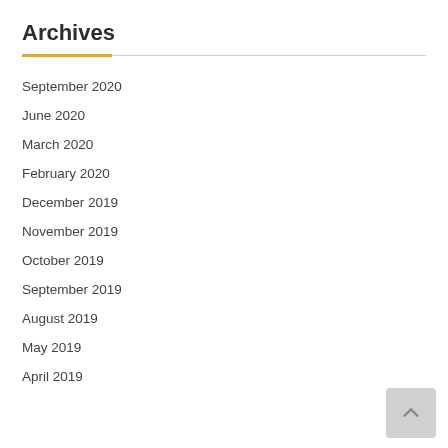Archives
September 2020
June 2020
March 2020
February 2020
December 2019
November 2019
October 2019
September 2019
August 2019
May 2019
April 2019